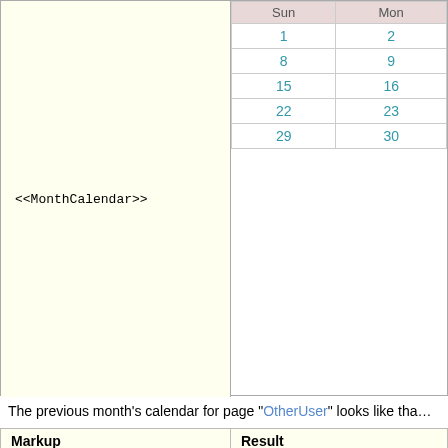| Markup | Result |
| --- | --- |
| <<MonthCalendar>> | [Calendar showing Sun 1,8,15,22,29 / Mon 2,9,16,23,30] |
The previous month's calendar for page "OtherUser" looks like tha...
| Markup | Result |
| --- | --- |
| <<MonthCalendar(OtherUser,,,-1)>> | [Calendar showing << / Sun 3,10,17,24,31 / Mon 4,11,18,25] |